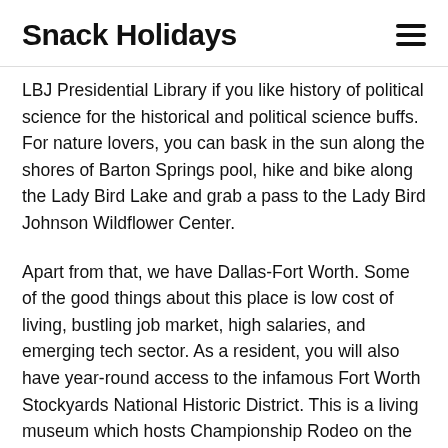Snack Holidays
LBJ Presidential Library if you like history of political science for the historical and political science buffs. For nature lovers, you can bask in the sun along the shores of Barton Springs pool, hike and bike along the Lady Bird Lake and grab a pass to the Lady Bird Johnson Wildflower Center.
Apart from that, we have Dallas-Fort Worth. Some of the good things about this place is low cost of living, bustling job market, high salaries, and emerging tech sector. As a resident, you will also have year-round access to the infamous Fort Worth Stockyards National Historic District. This is a living museum which hosts Championship Rodeo on the weekends, features museums, artifacts, and restaurants that are full of